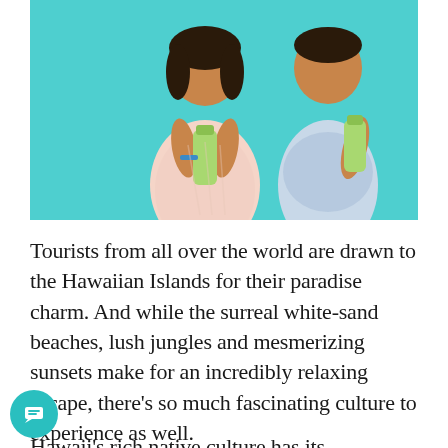[Figure (photo): Two children against a teal background, both holding green juice bottles. A girl in a white floral dress on the left and a boy in a white and blue patterned t-shirt and grey shorts on the right.]
Tourists from all over the world are drawn to the Hawaiian Islands for their paradise charm. And while the surreal white-sand beaches, lush jungles and mesmerizing sunsets make for an incredibly relaxing escape, there’s so much fascinating culture to experience as well.
Hawaii’s rich native culture has its